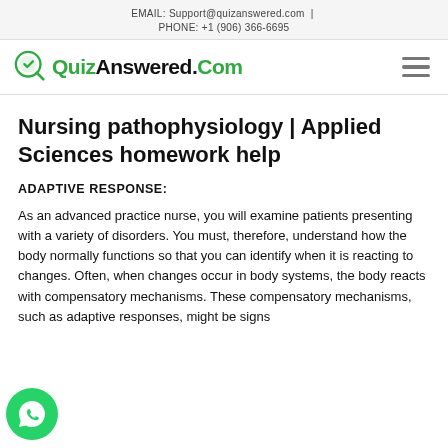EMAIL: Support@quizanswered.com | PHONE: +1 (906) 366-6695
[Figure (logo): QuizAnswered.Com logo with green magnifying glass icon and hamburger menu]
Nursing pathophysiology | Applied Sciences homework help
ADAPTIVE RESPONSE:
As an advanced practice nurse, you will examine patients presenting with a variety of disorders. You must, therefore, understand how the body normally functions so that you can identify when it is reacting to changes. Often, when changes occur in body systems, the body reacts with compensatory mechanisms. These compensatory mechanisms, such as adaptive responses, might be signs